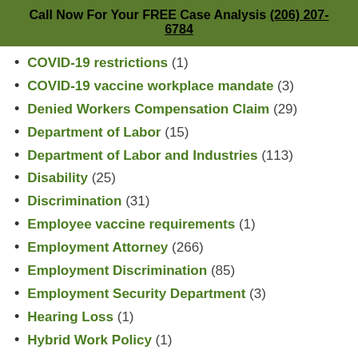Call Now For Your FREE Case Analysis
(206) 207-6784
COVID-19 restrictions (1)
COVID-19 vaccine workplace mandate (3)
Denied Workers Compensation Claim (29)
Department of Labor (15)
Department of Labor and Industries (113)
Disability (25)
Discrimination (31)
Employee vaccine requirements (1)
Employment Attorney (266)
Employment Discrimination (85)
Employment Security Department (3)
Hearing Loss (1)
Hybrid Work Policy (1)
IME (4)
Immigration (2)